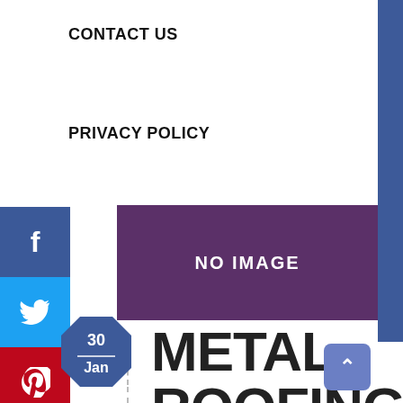CONTACT US
PRIVACY POLICY
[Figure (other): Social media sidebar with Facebook, Twitter, Pinterest, LinkedIn, Reddit buttons]
[Figure (other): Purple placeholder image box with text NO IMAGE]
[Figure (other): Date badge octagon shape showing 30 Jan]
METAL ROOFING